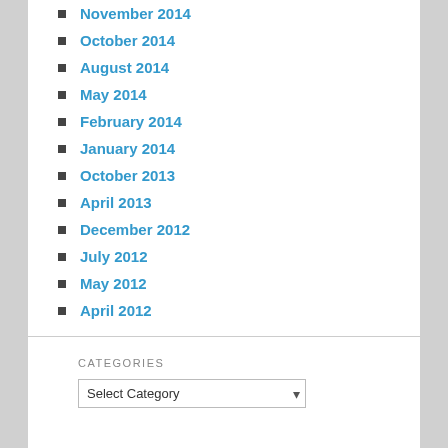November 2014
October 2014
August 2014
May 2014
February 2014
January 2014
October 2013
April 2013
December 2012
July 2012
May 2012
April 2012
CATEGORIES
Select Category
[Figure (other): Make A Donation button - orange rounded pill button with italic bold dark blue text]